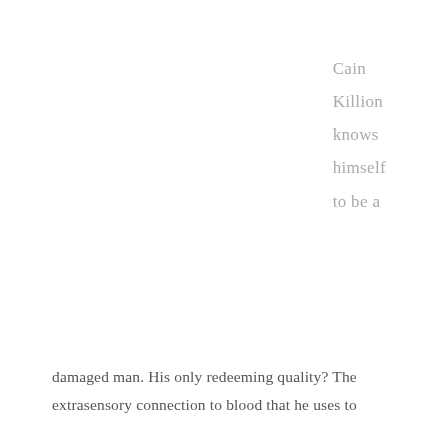Cain
Killion
knows
himself
to be a
damaged man. His only redeeming quality? The extrasensory connection to blood that he uses to